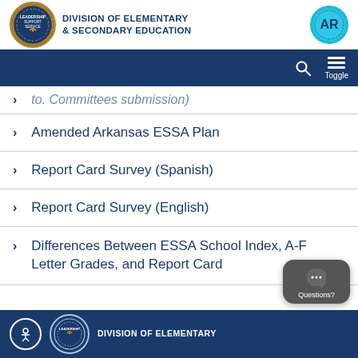Division of Elementary & Secondary Education
to. Committees submission) [partial, cut off at top]
Amended Arkansas ESSA Plan
Report Card Survey (Spanish)
Report Card Survey (English)
Differences Between ESSA School Index, A-F Letter Grades, and Report Card
Division of Elementary